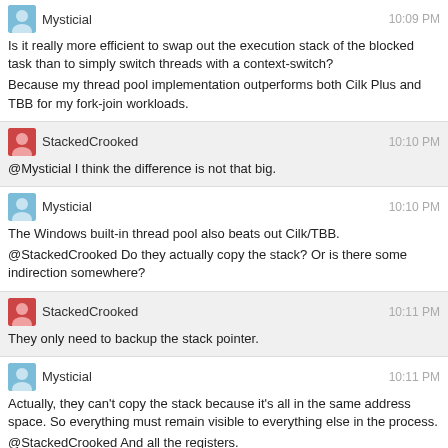Mysticial 10:09 PM
Is it really more efficient to swap out the execution stack of the blocked task than to simply switch threads with a context-switch?
Because my thread pool implementation outperforms both Cilk Plus and TBB for my fork-join workloads.
StackedCrooked 10:10 PM
@Mysticial I think the difference is not that big.
Mysticial 10:10 PM
The Windows built-in thread pool also beats out Cilk/TBB.
@StackedCrooked Do they actually copy the stack? Or is there some indirection somewhere?
StackedCrooked 10:11 PM
They only need to backup the stack pointer.
Mysticial 10:11 PM
Actually, they can't copy the stack because it's all in the same address space. So everything must remain visible to everything else in the process.
@StackedCrooked And all the registers.
StackedCrooked 10:12 PM
Yeah.
Mysticial 10:12 PM
That's a context switch.
StackedCrooked 10:12 PM